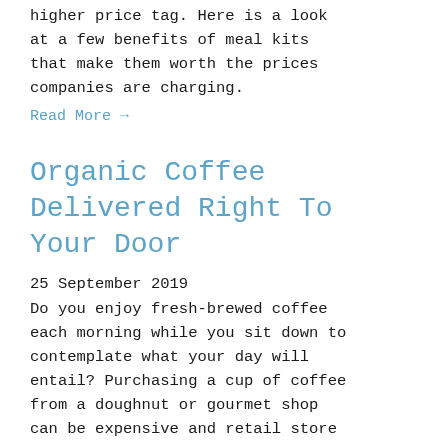higher price tag. Here is a look at a few benefits of meal kits that make them worth the prices companies are charging.
Read More →
Organic Coffee Delivered Right To Your Door
25 September 2019
Do you enjoy fresh-brewed coffee each morning while you sit down to contemplate what your day will entail? Purchasing a cup of coffee from a doughnut or gourmet shop can be expensive and retail store